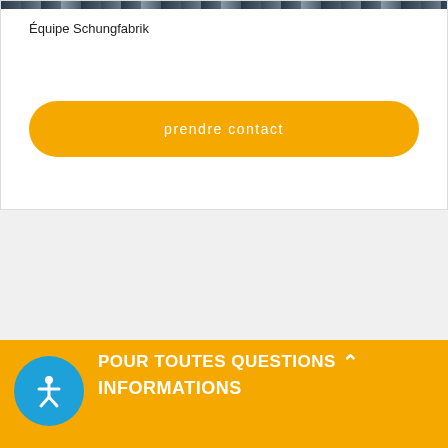[Figure (photo): Top strip showing a cropped photo of the Schungfabrik team (partially visible at top of card)]
Équipe Schungfabrik
prendre contact
POUR TOUTES QUESTIONS INFORMATIONS